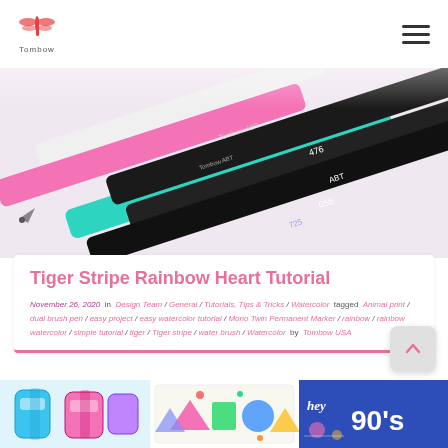Tombow (logo and navigation)
[Figure (photo): Close-up photo of Tombow dual brush pens and markers laid out, including pink, teal/green, and dark-colored pens labeled ABT and Mono Twin Permanent Marker with numbers 476, 725, 055]
Tiger Stripe Rainbow Heart Tutorial
November 26, 2020 in Design Team / General / Tutorials, Tips & Tricks / Watercolor tagged Animal print / dual brush pen / easy project / easy watercolor tutorial / Mono Twin Permanent Marker / rainbow / rainbow watercolor / simple tutorial / tiger / Tiger stripe / water brush / Watercolor by Tombow USA
[Figure (photo): Three thumbnail images at the bottom: blue and pink tape runner products, colorful geometric shapes card, and a 90s-themed blue card saying 'hey 90s']